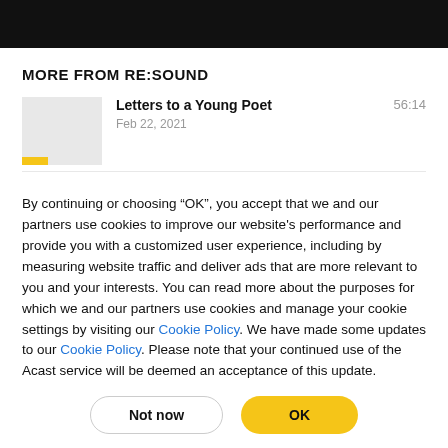MORE FROM RE:SOUND
Letters to a Young Poet
Feb 22, 2021
56:14
By continuing or choosing “OK”, you accept that we and our partners use cookies to improve our website's performance and provide you with a customized user experience, including by measuring website traffic and deliver ads that are more relevant to you and your interests. You can read more about the purposes for which we and our partners use cookies and manage your cookie settings by visiting our Cookie Policy. We have made some updates to our Cookie Policy. Please note that your continued use of the Acast service will be deemed an acceptance of this update.
Not now | OK